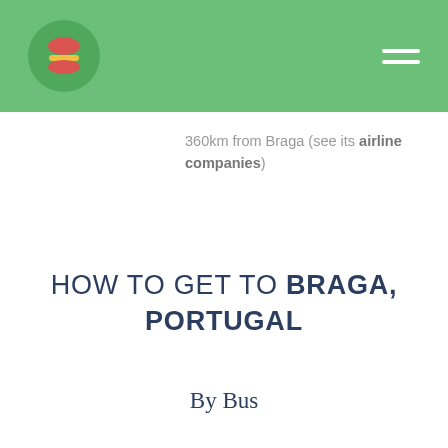[Logo and navigation bar]
360km from Braga (see its airline companies)
HOW TO GET TO BRAGA, PORTUGAL
By Bus